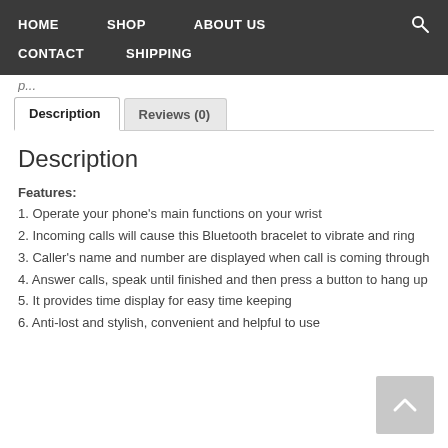HOME  SHOP  ABOUT US  CONTACT  SHIPPING
Description
Features:
1. Operate your phone's main functions on your wrist
2. Incoming calls will cause this Bluetooth bracelet to vibrate and ring
3. Caller's name and number are displayed when call is coming through
4. Answer calls, speak until finished and then press a button to hang up
5. It provides time display for easy time keeping
6. Anti-lost and stylish, convenient and helpful to use